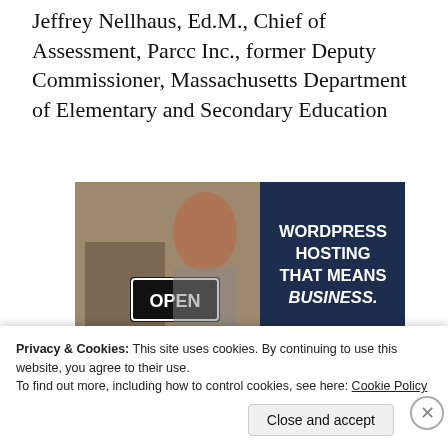Jeffrey Nellhaus, Ed.M., Chief of Assessment, Parcc Inc., former Deputy Commissioner, Massachusetts Department of Elementary and Secondary Education
[Figure (photo): Advertisement banner showing a woman holding an 'OPEN' sign with text 'WORDPRESS HOSTING THAT MEANS BUSINESS.']
Privacy & Cookies: This site uses cookies. By continuing to use this website, you agree to their use.
To find out more, including how to control cookies, see here: Cookie Policy
Close and accept